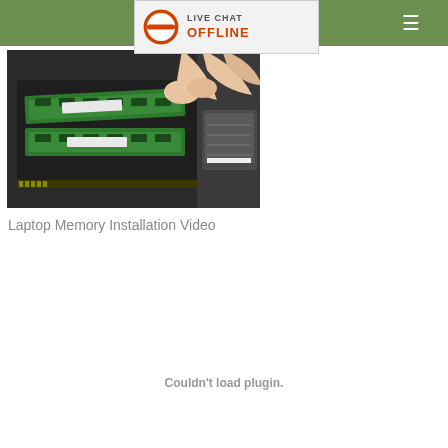LIVE CHAT OFFLINE (navigation bar with hamburger menu)
[Figure (photo): A hand installing or removing a RAM memory stick from a laptop computer. The laptop is open showing the bottom panel with two green DDR memory modules and a Dell service tag label visible.]
Laptop Memory Installation Video
Couldn't load plugin.